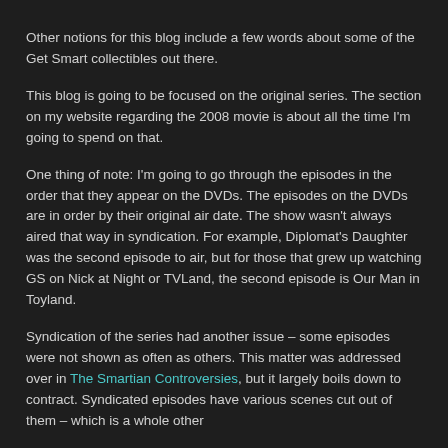Other notions for this blog include a few words about some of the Get Smart collectibles out there.
This blog is going to be focused on the original series. The section on my website regarding the 2008 movie is about all the time I'm going to spend on that.
One thing of note: I'm going to go through the episodes in the order that they appear on the DVDs. The episodes on the DVDs are in order by their original air date. The show wasn't always aired that way in syndication. For example, Diplomat's Daughter was the second episode to air, but for those that grew up watching GS on Nick at Night or TVLand, the second episode is Our Man in Toyland.
Syndication of the series had another issue – some episodes were not shown as often as others. This matter was addressed over in The Smartian Controversies, but it largely boils down to contract. Syndicated episodes have various scenes cut out of them – which is a whole other